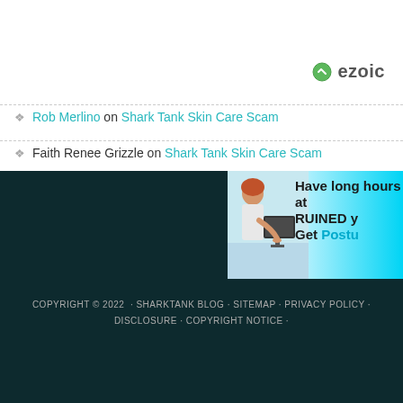[Figure (logo): Ezoic logo with circular icon and text 'ezoic']
Rob Merlino on Shark Tank Skin Care Scam
Faith Renee Grizzle on Shark Tank Skin Care Scam
[Figure (infographic): Advertisement banner showing a woman at a computer with text 'Have long hours at [work] RUINED y[our posture]? Get Postu[re support]']
COPYRIGHT © 2022 · SHARKTANK BLOG · SITEMAP · PRIVACY POLICY · DISCLOSURE · COPYRIGHT NOTICE ·